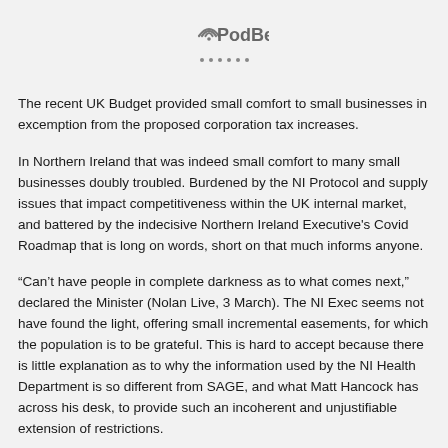PodBean
The recent UK Budget provided small comfort to small businesses in exemption from the proposed corporation tax increases.
In Northern Ireland that was indeed small comfort to many small businesses doubly troubled. Burdened by the NI Protocol and supply issues that impact competitiveness within the UK internal market, and battered by the indecisive Northern Ireland Executive's Covid Roadmap that is long on words, short on that much informs anyone.
“Can’t have people in complete darkness as to what comes next,” declared the Minister (Nolan Live, 3 March). The NI Exec seems not have found the light, offering small incremental easements, for which the population is to be grateful. This is hard to accept because there is little explanation as to why the information used by the NI Health Department is so different from SAGE, and what Matt Hancock has across his desk, to provide such an incoherent and unjustifiable extension of restrictions.